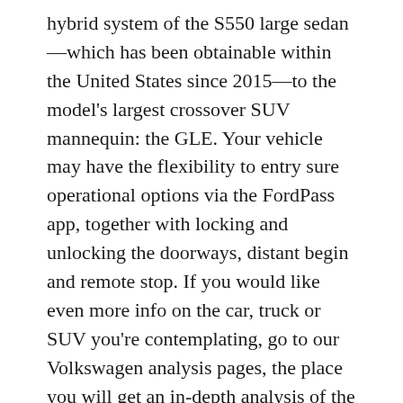hybrid system of the S550 large sedan—which has been obtainable within the United States since 2015—to the model's largest crossover SUV mannequin: the GLE. Your vehicle may have the flexibility to entry sure operational options via the FordPass app, together with locking and unlocking the doorways, distant begin and remote stop. If you would like even more info on the car, truck or SUV you're contemplating, go to our Volkswagen analysis pages, the place you will get an in-depth analysis of the most recent Volkswagen automobiles and SUV's in Orlando, Florida, model by mannequin. The TLX A-Spec was a Business Insider Car of the Yr runner-up in 2017. Mini is placing an electric twist on the go-kart-like dealing with